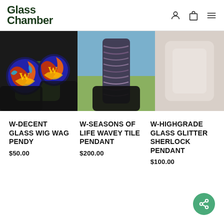Glass Chamber
[Figure (photo): Three product photos in a horizontal strip: left shows two colorful glass pieces with red/orange/blue swirl patterns held by black gloved hands; center shows a black/grey/purple wavey tile pendant held by black gloved hands outdoors; right shows a lighter colored blurred product image.]
W-DECENT GLASS WIG WAG PENDY
$50.00
W-SEASONS OF LIFE WAVEY TILE PENDANT
$200.00
W-HIGHGRA‌DE GLASS GLITTER SHERLOCK PENDANT
$100.00